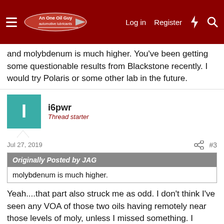Log in  Register
and molybdenum is much higher. You've been getting some questionable results from Blackstone recently. I would try Polaris or some other lab in the future.
i6pwr
Thread starter
Jul 27, 2019  #3
Originally Posted by JAG
molybdenum is much higher.
Yeah....that part also struck me as odd. I don't think I've seen any VOA of those two oils having remotely near those levels of moly, unless I missed something. I agree it's worth looking into since this batch of UOA/VOA's I sent in has some noticeably skewed figures in some areas.